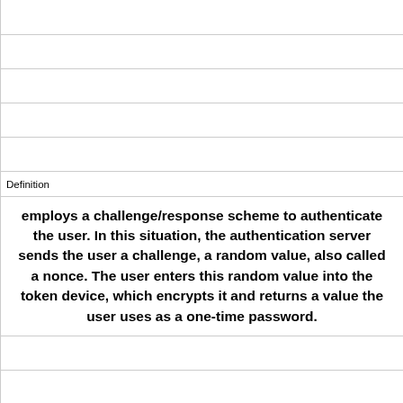| Definition |
| --- |
|  |
|  |
|  |
|  |
|  |
| Definition |
| employs a challenge/response scheme to authenticate the user. In this situation, the authentication server sends the user a challenge, a random value, also called a nonce. The user enters this random value into the token device, which encrypts it and returns a value the user uses as a one-time password. |
|  |
|  |
|  |
| Term |